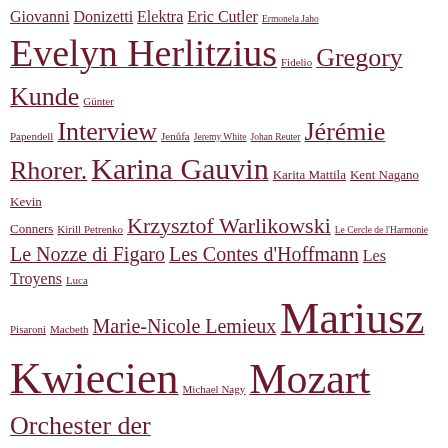[Figure (other): Tag cloud of opera-related terms and names including composers, performers, orchestras, and operas, rendered in dark red with varying font sizes indicating frequency/importance.]